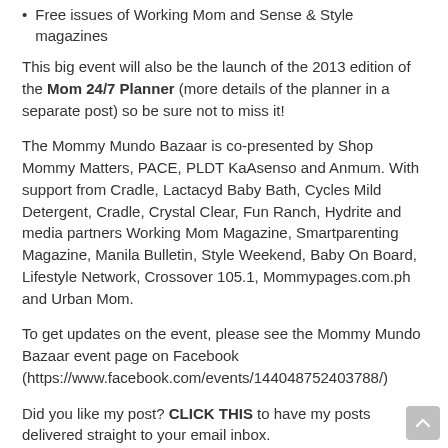Free issues of Working Mom and Sense & Style magazines
This big event will also be the launch of the 2013 edition of the Mom 24/7 Planner (more details of the planner in a separate post) so be sure not to miss it!
The Mommy Mundo Bazaar is co-presented by Shop Mommy Matters, PACE, PLDT KaAsenso and Anmum. With support from Cradle, Lactacyd Baby Bath, Cycles Mild Detergent, Cradle, Crystal Clear, Fun Ranch, Hydrite and media partners Working Mom Magazine, Smartparenting Magazine, Manila Bulletin, Style Weekend, Baby On Board, Lifestyle Network, Crossover 105.1, Mommypages.com.ph and Urban Mom.
To get updates on the event, please see the Mommy Mundo Bazaar event page on Facebook (https://www.facebook.com/events/144048752403788/)
Did you like my post? CLICK THIS to have my posts delivered straight to your email inbox.
[Figure (infographic): Social sharing buttons row: Facebook (dark blue), Twitter (light blue), Google+ (red-orange), Pinterest (dark red), WhatsApp (green), LinkedIn (blue), Email (grey)]